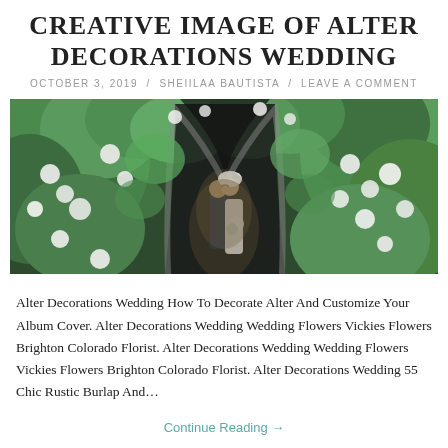CREATIVE IMAGE OF ALTER DECORATIONS WEDDING
OCTOBER 3, 2019 / SHEIILAA BAUTISTA / LEAVE A COMMENT
[Figure (photo): A bride and groom kissing under a stone archway covered in lush green foliage and white flowers, photographed from the front. The arch and surrounding walls are densely decorated with greenery and white blooms.]
Alter Decorations Wedding How To Decorate Alter And Customize Your Album Cover. Alter Decorations Wedding Wedding Flowers Vickies Flowers Brighton Colorado Florist. Alter Decorations Wedding Wedding Flowers Vickies Flowers Brighton Colorado Florist. Alter Decorations Wedding 55 Chic Rustic Burlap And…
Continue Reading →